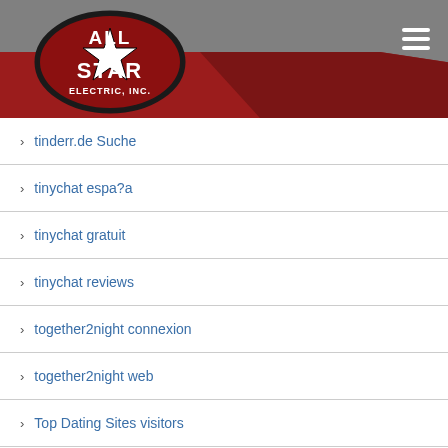[Figure (logo): All Star Electric, Inc. logo — oval shape with star, bold text ALL STAR ELECTRIC, INC. in red and black on grey header with red diagonal banner]
tinderr.de Suche
tinychat espa?a
tinychat gratuit
tinychat reviews
together2night connexion
together2night web
Top Dating Sites visitors
top pay day loan